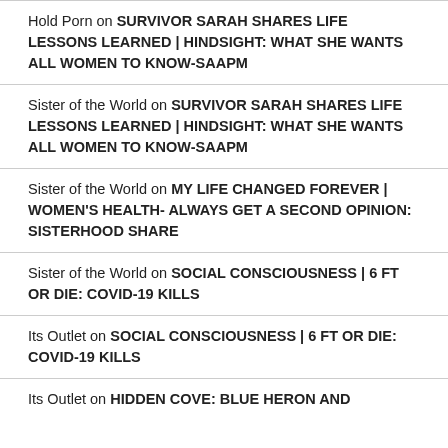Hold Porn on SURVIVOR SARAH SHARES LIFE LESSONS LEARNED | HINDSIGHT: WHAT SHE WANTS ALL WOMEN TO KNOW-SAAPM
Sister of the World on SURVIVOR SARAH SHARES LIFE LESSONS LEARNED | HINDSIGHT: WHAT SHE WANTS ALL WOMEN TO KNOW-SAAPM
Sister of the World on MY LIFE CHANGED FOREVER | WOMEN'S HEALTH- ALWAYS GET A SECOND OPINION: SISTERHOOD SHARE
Sister of the World on SOCIAL CONSCIOUSNESS | 6 FT OR DIE: COVID-19 KILLS
Its Outlet on SOCIAL CONSCIOUSNESS | 6 FT OR DIE: COVID-19 KILLS
Its Outlet on HIDDEN COVE: BLUE HERON AND